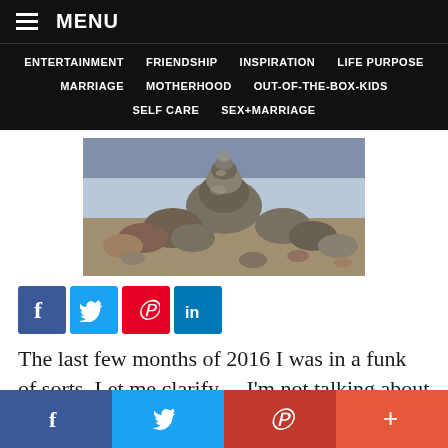MENU
ENTERTAINMENT   FRIENDSHIP   INSPIRATION   LIFE PURPOSE   MARRIAGE   MOTHERHOOD   OUT-OF-THE-BOX-KIDS   SELF CARE   SEX+MARRIAGE
[Figure (photo): Stack of balanced stones/rocks on a beach, pebbles in foreground]
[Figure (infographic): Social share buttons: Facebook (blue), Twitter (light blue), Pinterest (red), LinkedIn (dark blue)]
The last few months of 2016 I was in a funk of sorts. Let me clarify… I'm not talking about a smell or a type of music; apparently there are multiple definitions of the word. The funk I'm
f   Twitter bird   Pinterest P   +